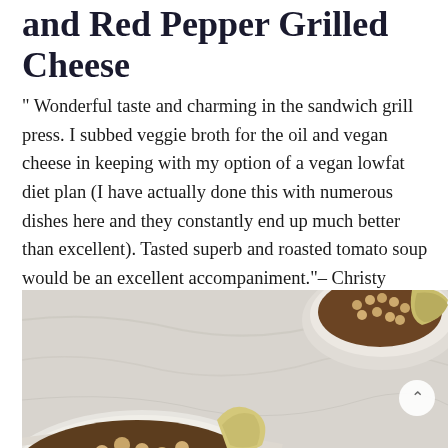and Red Pepper Grilled Cheese
" Wonderful taste and charming in the sandwich grill press. I subbed veggie broth for the oil and vegan cheese in keeping with my option of a vegan lowfat diet plan (I have actually done this with numerous dishes here and they constantly end up much better than excellent). Tasted superb and roasted tomato soup would be an excellent accompaniment."– Christy
[Figure (photo): Photo of food bowls containing a grain and vegetable dish with chickpeas, peas, tomatoes, and artichoke hearts on a marble surface]